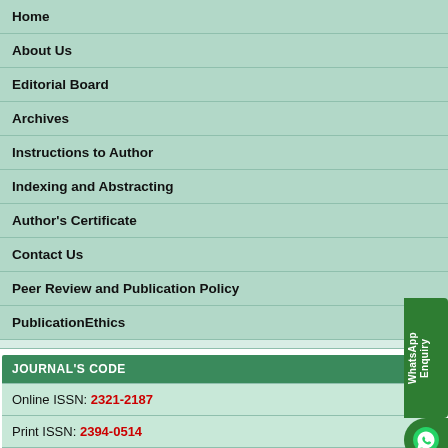Home
About Us
Editorial Board
Archives
Instructions to Author
Indexing and Abstracting
Author's Certificate
Contact Us
Peer Review and Publication Policy
PublicationEthics
JOURNAL'S CODE
Online ISSN: 2321-2187
Print ISSN: 2394-0514
ICV 2016: 75.87
OPEN ACCESS